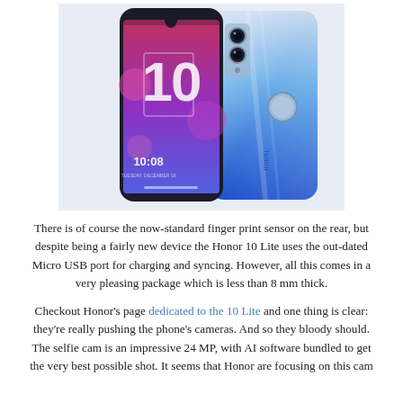[Figure (photo): Honor 10 Lite smartphone shown from front and back. Front view shows the display with '10' on screen and time 10:08. Back view shows blue gradient finish with dual camera and fingerprint sensor. The brand name 'honor' is visible on the back.]
There is of course the now-standard finger print sensor on the rear, but despite being a fairly new device the Honor 10 Lite uses the out-dated Micro USB port for charging and syncing. However, all this comes in a very pleasing package which is less than 8 mm thick.
Checkout Honor's page dedicated to the 10 Lite and one thing is clear: they're really pushing the phone's cameras. And so they bloody should. The selfie cam is an impressive 24 MP, with AI software bundled to get the very best possible shot. It seems that Honor are focusing on this cam